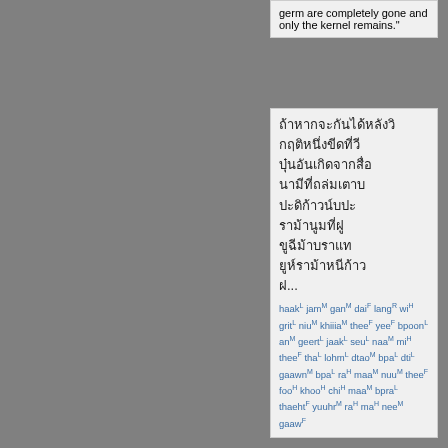germ are completely gone and only the kernel remains."
Thai text block with transliteration: haakL jamM ganM daiF langR wiH gritL niuM khiiiaM theeF yeeF bpoonL anM geertL jaakL seuL naaM miH theeF thaL lohmL dtaoM bpaL dtiL gaawnM bpaL raH maaM nuuM theeF fooH khooH chiH maaM bpraL thaehtF yuuhrM raH maH neeM gaawF ...